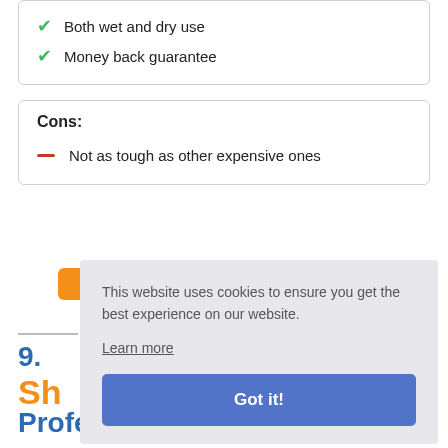Both wet and dry use
Money back guarantee
Cons:
Not as tough as other expensive ones
[Figure (screenshot): Cookie consent overlay with text 'This website uses cookies to ensure you get the best experience on our website.' with 'Learn more' link and 'Got it!' button]
9.
Sh
Professional Handmade for